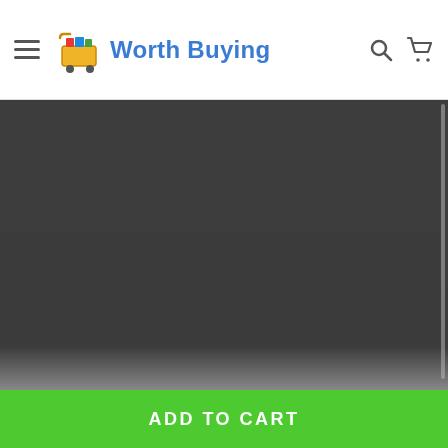Worth Buying — navigation header with hamburger menu, logo, search and cart icons
[Figure (photo): Dark/black product image area, content not visible]
ADD TO CART